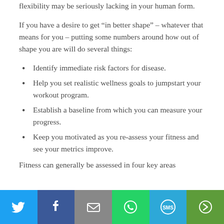flexibility may be seriously lacking in your human form.
If you have a desire to get “in better shape” – whatever that means for you – putting some numbers around how out of shape you are will do several things:
Identify immediate risk factors for disease.
Help you set realistic wellness goals to jumpstart your workout program.
Establish a baseline from which you can measure your progress.
Keep you motivated as you re-assess your fitness and see your metrics improve.
Fitness can generally be assessed in four key areas
[Figure (infographic): Social sharing bar with icons for Twitter, Facebook, Email, WhatsApp, SMS, and More options]